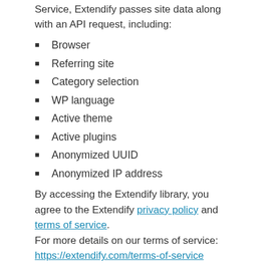Service, Extendify passes site data along with an API request, including:
Browser
Referring site
Category selection
WP language
Active theme
Active plugins
Anonymized UUID
Anonymized IP address
By accessing the Extendify library, you agree to the Extendify privacy policy and terms of service. For more details on our terms of service: https://extendify.com/terms-of-service
PRIVACY POLICY
MetaSlider uses the Appsero SDK to collect non-